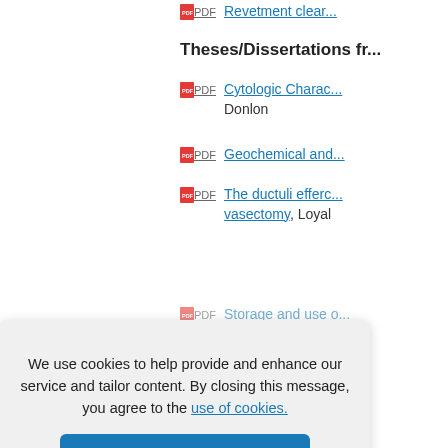PDF  Revetment clear...
Theses/Dissertations fr...
PDF  Cytologic Charac... Donlon
PDF  Geochemical and...
PDF  The ductuli efferc... vasectomy, Loyal
PDF  Storage and use o...
Theses/Dissertations fr...
PDF  The Myelopathic... Ivan M. Clark
PDF  Geophysical an... Janes
We use cookies to help provide and enhance our service and tailor content. By closing this message, you agree to the use of cookies.